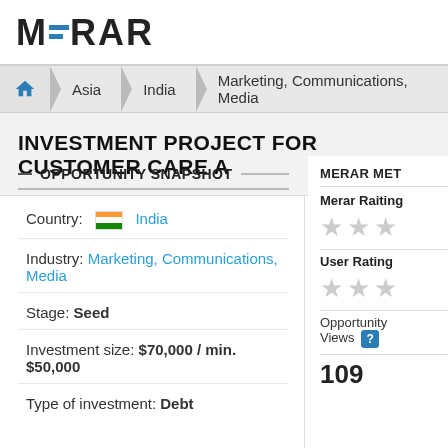MERAR
Asia > India > Marketing, Communications, Media
INVESTMENT PROJECT FOR CUSTOMER CARE A
OPPORTUNITY SNAPSHOT
Country: India
Industry: Marketing, Communications, Media
Stage: Seed
Investment size: $70,000 / min. $50,000
Type of investment: Debt
MERAR MET
Merar Raiting
User Rating
Opportunity Views 109